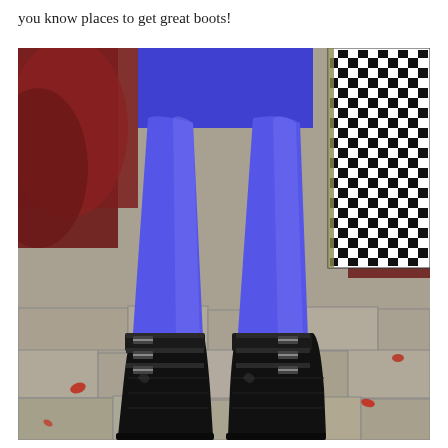you know places to get great boots!
[Figure (photo): Close-up photograph of a person's legs wearing bright blue/cobalt tights and tall black leather knee-high boots with multiple buckle straps, standing on a stone pavement. The person is wearing a blue outfit. A black and white houndstooth patterned clutch bag is visible on the right. Red leaves are visible in the background and on the ground.]